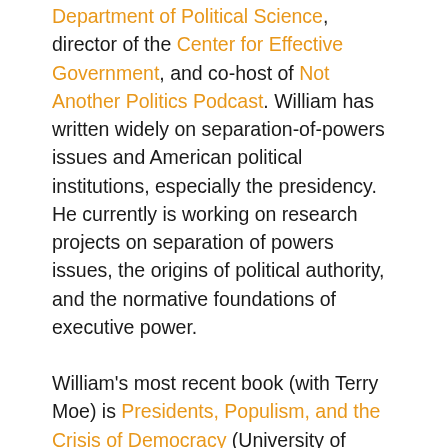Department of Political Science, director of the Center for Effective Government, and co-host of Not Another Politics Podcast. William has written widely on separation-of-powers issues and American political institutions, especially the presidency. He currently is working on research projects on separation of powers issues, the origins of political authority, and the normative foundations of executive power.
William's most recent book (with Terry Moe) is Presidents, Populism, and the Crisis of Democracy (University of Chicago, 2020). He also is the author or co-author of numerous other books, including: Relic: How